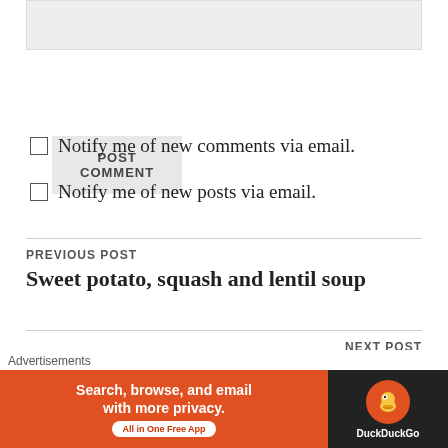[textarea box — comment input area]
POST COMMENT
Notify me of new comments via email.
Notify me of new posts via email.
PREVIOUS POST
Sweet potato, squash and lentil soup
NEXT POST
Cabbage Broccoli Black Bean Broth
Advertisements
[Figure (other): DuckDuckGo advertisement banner: orange left panel with text 'Search, browse, and email with more privacy. All in One Free App' and dark right panel with DuckDuckGo logo duck icon and text 'DuckDuckGo']